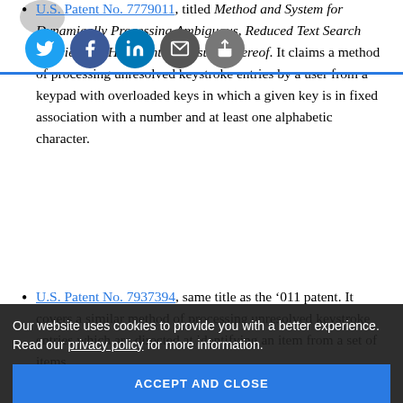U.S. Patent No. 7779011, titled Method and System for Dynamically Processing Ambiguous, Reduced Text Search Queries and Highlighting Results Thereof. It claims a method of processing unresolved keystroke entries by a user from a keypad with overloaded keys in which a given key is in fixed association with a number and at least one alphabetic character.
U.S. Patent No. 7937394, same title as the '011 patent. It covers a similar method of processing unresolved keystroke entries which are directed at identifying an item from a set of items.
TVs recent litigation brought against Comcast s expired in April 2016 and when TVs had attempted to renew with the major American pay-TV provider. Rovi
Our website uses cookies to provide you with a better experience. Read our privacy policy for more information.